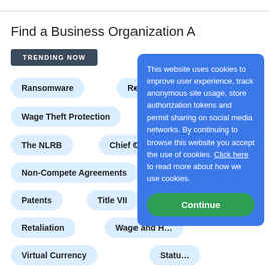Find a Business Organization A
TRENDING NOW
Ransomware
RegTech
Wage Theft Protection
The NLRB
Chief Compli…
Non-Compete Agreements
Patents
Title VII
T…
Retaliation
Wage and H…
Virtual Currency
Statu…
H-1B Visas
Blockchain
Internet of Things
This website uses cookies to improve user experience, track anonymous site usage, store authorization tokens and permit sharing on social media networks. By continuing to browse this website you accept the use of cookies. Click here to read more about how we use cookies.